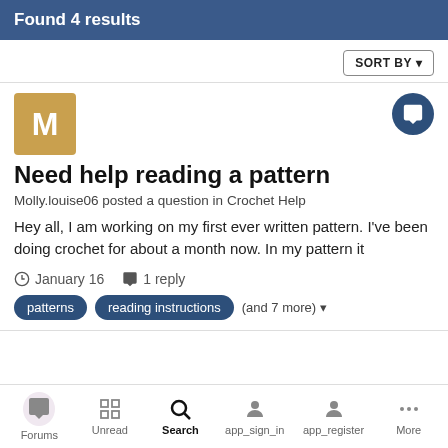Found 4 results
SORT BY
Need help reading a pattern
Molly.louise06 posted a question in Crochet Help
Hey all, I am working on my first ever written pattern. I've been doing crochet for about a month now. In my pattern it
January 16   1 reply
patterns   reading instructions   (and 7 more)
Forums   Unread   Search   app_sign_in   app_register   More